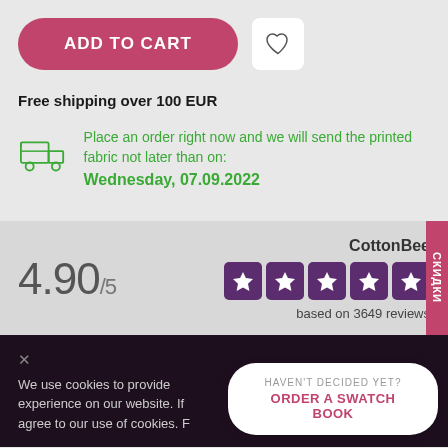[Figure (illustration): Pink rounded 'ADD TO CART' button and a heart wishlist icon button]
Free shipping over 100 EUR
Place an order right now and we will send the printed fabric not later than on: Wednesday, 07.09.2022
4.90/5
CottonBee
[Figure (illustration): Five purple star rating boxes]
based on 3649 reviews
We use cookies to provide experience on our website. If agree to our use of cookies. F
HAVEN'T DECIDED YET? ORDER A SWATCH BOOK